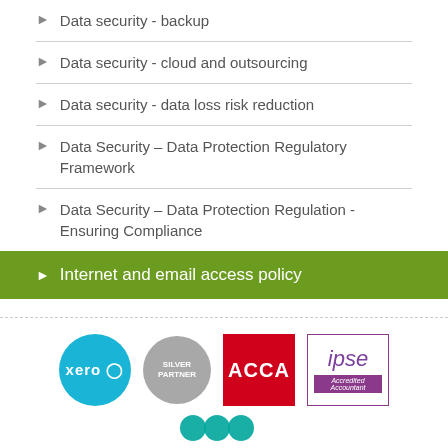Data security - backup
Data security - cloud and outsourcing
Data security - data loss risk reduction
Data Security – Data Protection Regulatory Framework
Data Security – Data Protection Regulation - Ensuring Compliance
Internet and email access policy
[Figure (logo): Logos of Xero (silver partner), ACCA, and IPSE Accredited Accountant, with partial COOP logo at bottom]